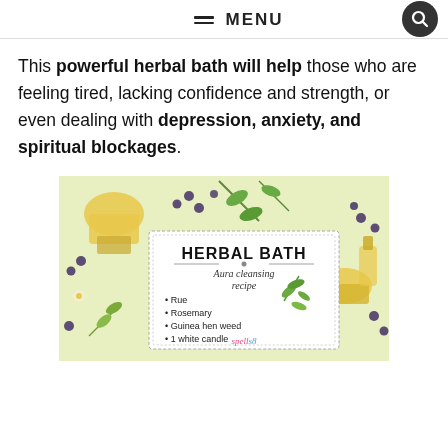≡ MENU
This powerful herbal bath will help those who are feeling tired, lacking confidence and strength, or even dealing with depression, anxiety, and spiritual blockages.
[Figure (illustration): Herbal Bath Aura Cleansing Recipe card with decorative botanical background featuring herbs, berries, and oil bottles. Card reads: HERBAL BATH, Aura cleansing recipe, • Rue, • Rosemary, • Guinea hen weed, • 1 white candle, spells8]